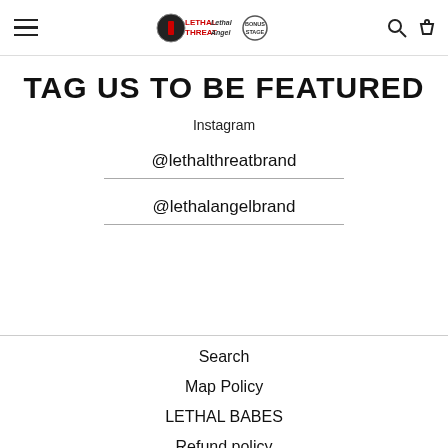Lethal Threat / Lethal Angel / [logo] — navigation header with hamburger menu, brand logos, search and cart icons
TAG US TO BE FEATURED
Instagram
@lethalthreatbrand
@lethalangelbrand
Search
Map Policy
LETHAL BABES
Refund policy
Privacy policy
Terms of service